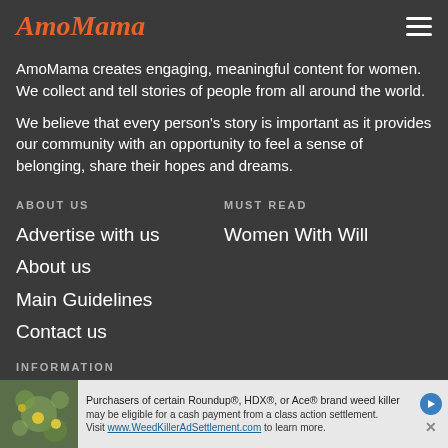AmoMama
AmoMama creates engaging, meaningful content for women. We collect and tell stories of people from all around the world.
We believe that every person's story is important as it provides our community with an opportunity to feel a sense of belonging, share their hopes and dreams.
ABOUT US
Advertise with us
About us
Main Guidelines
Contact us
MUST READ
Women With Will
INFORMATION
[Figure (screenshot): Advertisement banner for Roundup, HDX, or Ace brand weed killer class action settlement. Text: Purchasers of certain Roundup®, HDX®, or Ace® brand weed killer may be eligible for a cash payment from a class action settlement. Visit www.WeedKillerAdSettlement.com to learn more.]